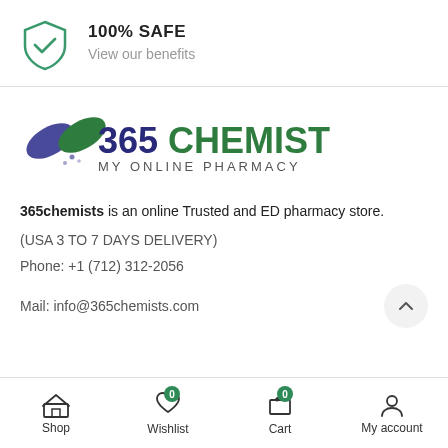[Figure (logo): Green shield with checkmark icon for 100% SAFE]
100% SAFE
View our benefits
[Figure (logo): 365 Chemists - My Online Pharmacy logo with capsule icons]
365chemists is an online Trusted and ED pharmacy store.
(USA 3 TO 7 DAYS DELIVERY)
Phone: +1 (712) 312-2056
Mail: info@365chemists.com
Shop | Wishlist 0 | Cart 0 | My account